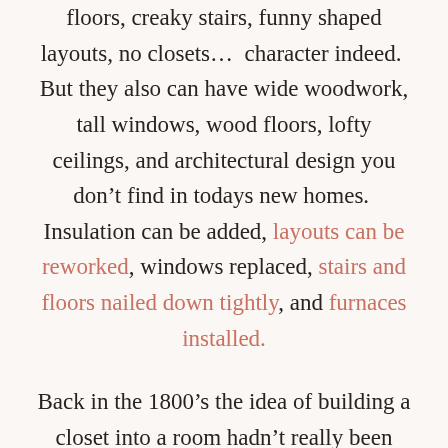floors, creaky stairs, funny shaped layouts, no closets...  character indeed.  But they also can have wide woodwork, tall windows, wood floors, lofty ceilings, and architectural design you don't find in todays new homes.  Insulation can be added, layouts can be reworked, windows replaced, stairs and floors nailed down tightly, and furnaces installed.
Back in the 1800's the idea of building a closet into a room hadn't really been